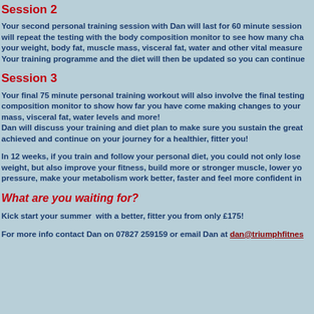Session 2
Your second personal training session with Dan will last for 60 minute session will repeat the testing with the body composition monitor to see how many cha your weight, body fat, muscle mass, visceral fat, water and other vital measure Your training programme and the diet will then be updated so you can continue
Session 3
Your final 75 minute personal training workout will also involve the final testing composition monitor to show how far you have come making changes to your mass, visceral fat, water levels and more!
Dan will discuss your training and diet plan to make sure you sustain the great achieved and continue on your journey for a healthier, fitter you!
In 12 weeks, if you train and follow your personal diet, you could not only lose weight, but also improve your fitness, build more or stronger muscle, lower yo pressure, make your metabolism work better, faster and feel more confident in
What are you waiting for?
Kick start your summer  with a better, fitter you from only £175!
For more info contact Dan on 07827 259159 or email Dan at dan@triumphfitnes